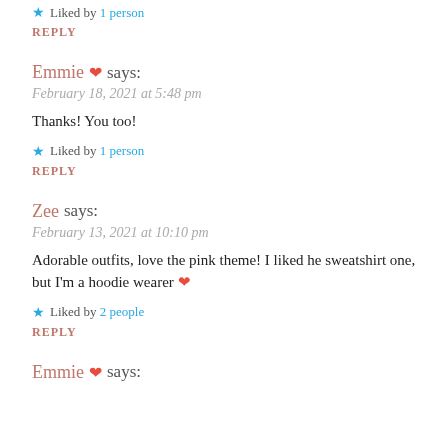★ Liked by 1 person
REPLY
Emmie ❤ says:
February 18, 2021 at 5:48 pm
Thanks! You too!
★ Liked by 1 person
REPLY
Zee says:
February 13, 2021 at 10:10 pm
Adorable outfits, love the pink theme! I liked he sweatshirt one, but I'm a hoodie wearer ❤
★ Liked by 2 people
REPLY
Emmie ❤ says: